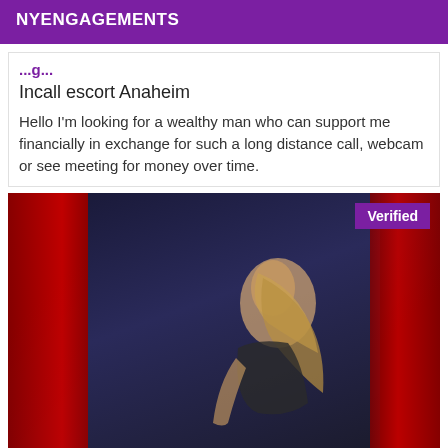NYENGAGEMENTS
Incall escort Anaheim
Hello I'm looking for a wealthy man who can support me financially in exchange for such a long distance call, webcam or see meeting for money over time.
[Figure (photo): A blonde woman posing in lingerie against red curtains with a dark blue background. A purple 'Verified' badge is shown in the top-right corner of the image.]